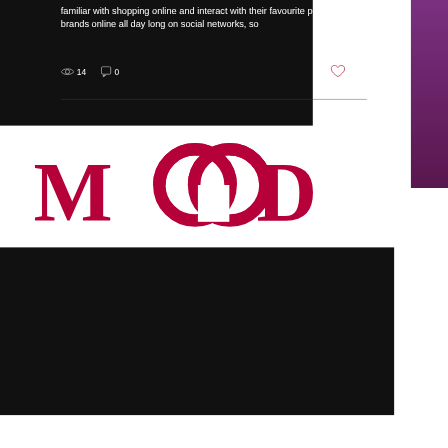familiar with shopping online and interact with their favourite people and brands online all day long on social networks, so
[Figure (screenshot): Social post engagement icons showing eye icon with count 14, comment icon with count 0, and heart icon]
[Figure (logo): MOOD logo in dark red/crimson serif font with two interlocking O circles]
[Figure (photo): Author avatar photo of Andy Gahan]
Andy Gahan
Jan 24, 2017 · 5 min
Lead Generation using LinkedIn
Generate more sales and sales leads using LinkedIn